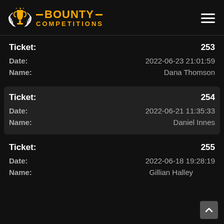[Figure (logo): Bounty Competitions logo with trophy icon and laurel wreath, gold text reading BOUNTY COMPETITIONS]
| Field | Value |
| --- | --- |
| Ticket: | 253 |
| Date: | 2022-06-23 21:01:59 |
| Name: | Dana Thomson |
| Field | Value |
| --- | --- |
| Ticket: | 254 |
| Date: | 2022-06-21 11:35:33 |
| Name: | Daniel Innes |
| Field | Value |
| --- | --- |
| Ticket: | 255 |
| Date: | 2022-06-18 19:28:19 |
| Name: | Gillian Halley |